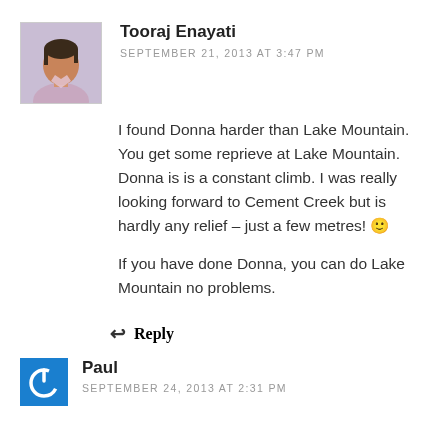[Figure (photo): Avatar photo of Tooraj Enayati - a man in a light pink shirt]
Tooraj Enayati
SEPTEMBER 21, 2013 AT 3:47 PM
I found Donna harder than Lake Mountain. You get some reprieve at Lake Mountain. Donna is is a constant climb. I was really looking forward to Cement Creek but is hardly any relief – just a few metres! 🙂
If you have done Donna, you can do Lake Mountain no problems.
Reply
[Figure (illustration): Blue square icon with white power button symbol - generic user avatar]
Paul
SEPTEMBER 24, 2013 AT 2:31 PM